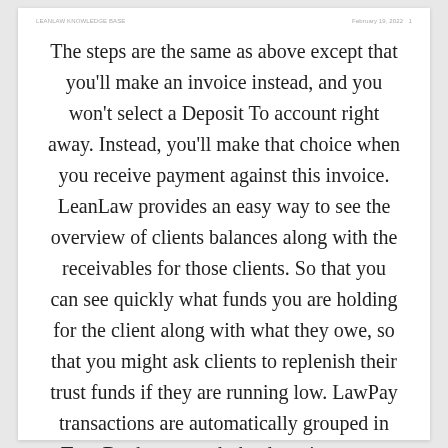LEANLAW KNOWLEDGE BASE   February 19, 2022   1
The steps are the same as above except that you'll make an invoice instead, and you won't select a Deposit To account right away. Instead, you'll make that choice when you receive payment against this invoice. LeanLaw provides an easy way to see the overview of clients balances along with the receivables for those clients. So that you can see quickly what funds you are holding for the client along with what they owe, so that you might ask clients to replenish their trust funds if they are running low. LawPay transactions are automatically grouped in TrustBooks to match the deposit on your bank statement for simple reconciliation.